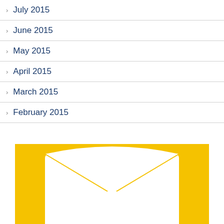July 2015
June 2015
May 2015
April 2015
March 2015
February 2015
[Figure (illustration): Yellow envelope icon on gold/yellow background, showing a white envelope shape with rounded top flap and V-shaped bottom, partially cropped at bottom of page]